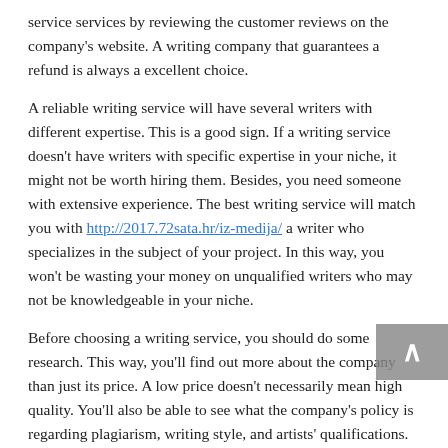service services by reviewing the customer reviews on the company's website. A writing company that guarantees a refund is always a excellent choice.
A reliable writing service will have several writers with different expertise. This is a good sign. If a writing service doesn't have writers with specific expertise in your niche, it might not be worth hiring them. Besides, you need someone with extensive experience. The best writing service will match you with http://2017.72sata.hr/iz-medija/ a writer who specializes in the subject of your project. In this way, you won't be wasting your money on unqualified writers who may not be knowledgeable in your niche.
Before choosing a writing service, you should do some research. This way, you'll find out more about the company than just its price. A low price doesn't necessarily mean high quality. You'll also be able to see what the company's policy is regarding plagiarism, writing style, and artists' qualifications. Choosing a writing service that offers such services is worth the time and effort. And you won't regret it!
Pricing